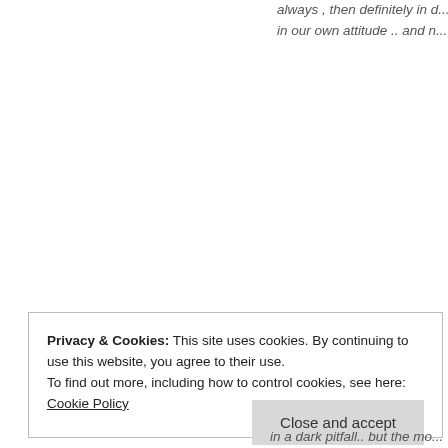always , then definitely in d... in our own attitude .. and n...
Privacy & Cookies: This site uses cookies. By continuing to use this website, you agree to their use.
To find out more, including how to control cookies, see here: Cookie Policy
Close and accept
in a dark pitfall.. but the mo...